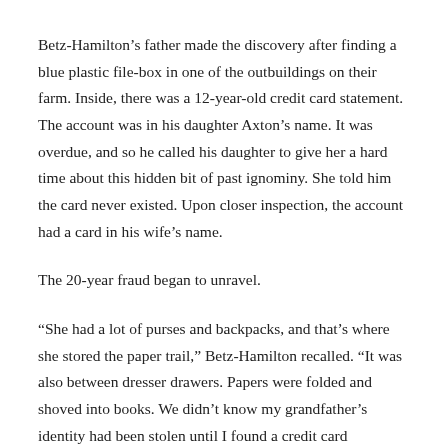Betz-Hamilton’s father made the discovery after finding a blue plastic file-box in one of the outbuildings on their farm. Inside, there was a 12-year-old credit card statement. The account was in his daughter Axton’s name. It was overdue, and so he called his daughter to give her a hard time about this hidden bit of past ignominy. She told him the card never existed. Upon closer inspection, the account had a card in his wife’s name.
The 20-year fraud began to unravel.
“She had a lot of purses and backpacks, and that’s where she stored the paper trail,” Betz-Hamilton recalled. “It was also between dresser drawers. Papers were folded and shoved into books. We didn’t know my grandfather’s identity had been stolen until I found a credit card statement in one of those purses, and I still don’t know how far back that goes.”